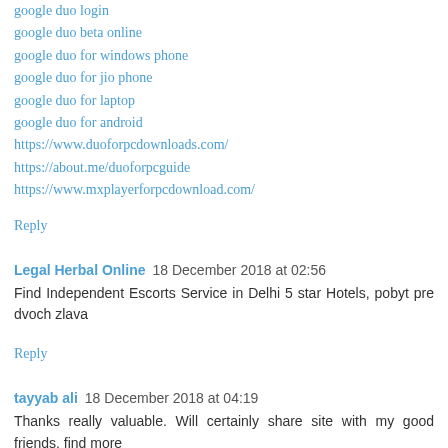google duo login
google duo beta online
google duo for windows phone
google duo for jio phone
google duo for laptop
google duo for android
https://www.duoforpcdownloads.com/
https://about.me/duoforpcguide
https://www.mxplayerforpcdownload.com/
Reply
Legal Herbal Online  18 December 2018 at 02:56
Find Independent Escorts Service in Delhi 5 star Hotels, pobyt pre dvoch zlava
Reply
tayyab ali  18 December 2018 at 04:19
Thanks really valuable. Will certainly share site with my good friends. find more